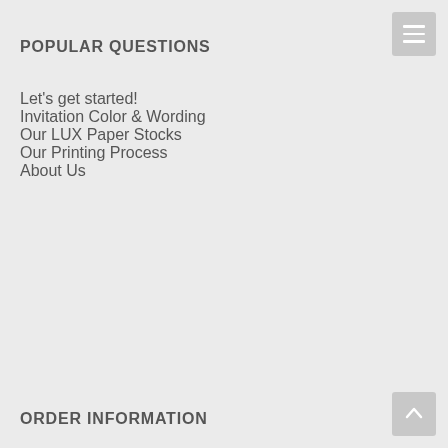POPULAR QUESTIONS
Let's get started!
Invitation Color & Wording
Our LUX Paper Stocks
Our Printing Process
About Us
ORDER INFORMATION